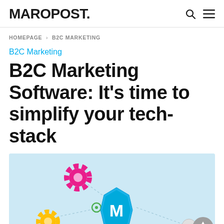MAROPOST.
HOMEPAGE > B2C MARKETING
B2C Marketing
B2C Marketing Software: It’s time to simplify your tech-stack
[Figure (illustration): Light blue background illustration showing a central blue 3D M-shaped Maropost logo connected by dotted lines to surrounding gear icons (pink, yellow, green) and a small circular Maropost badge on the right.]